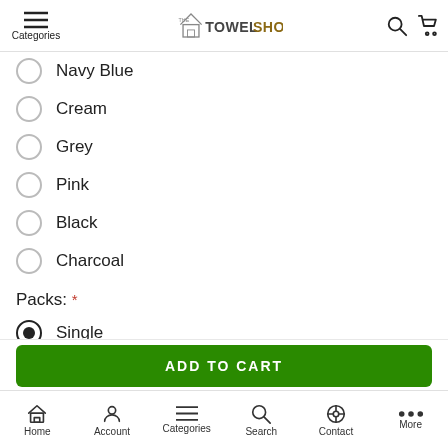Categories | The Towel Shop
Navy Blue
Cream
Grey
Pink
Black
Charcoal
Packs: *
Single (selected)
Pack of 5
Box of 10
ADD TO CART
Home  Account  Categories  Search  Contact  More